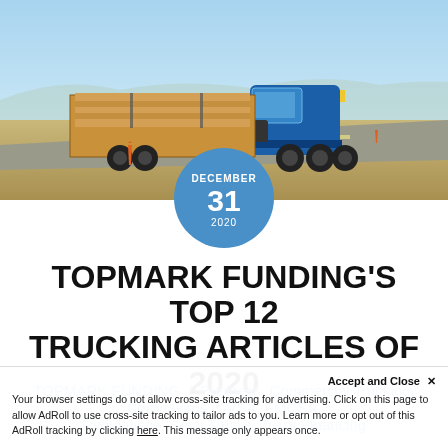[Figure (photo): Blue semi truck with flatbed trailer loaded with lumber/wood planks driving on a highway under a clear blue sky]
TOPMARK FUNDING'S TOP 12 TRUCKING ARTICLES OF 2020
TOPMARK FUNDING / Business, Commercial Trucking, Coronavirus, CVSA, FMCSA, Regulations, Semi Trucks, Truck Financing
Accept and Close × Your browser settings do not allow cross-site tracking for advertising. Click on this page to allow AdRoll to use cross-site tracking to tailor ads to you. Learn more or opt out of this AdRoll tracking by clicking here. This message only appears once.